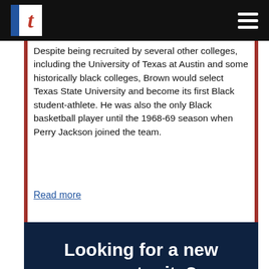t [logo] [hamburger menu]
Despite being recruited by several other colleges, including the University of Texas at Austin and some historically black colleges, Brown would select Texas State University and become its first Black student-athlete. He was also the only Black basketball player until the 1968-69 season when Perry Jackson joined the team.
Read more
Looking for a new opportunity?
Leadership opportunities available: